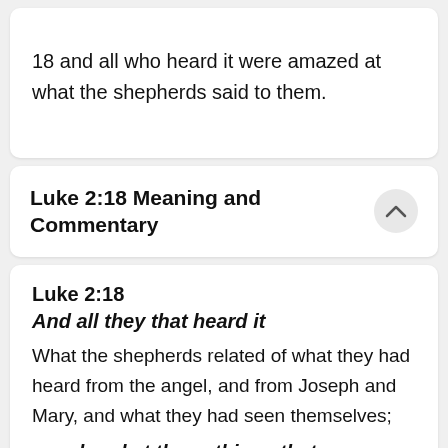18 and all who heard it were amazed at what the shepherds said to them.
Luke 2:18 Meaning and Commentary
Luke 2:18
And all they that heard it
What the shepherds related of what they had heard from the angel, and from Joseph and Mary, and what they had seen themselves;
wondered at those things that were